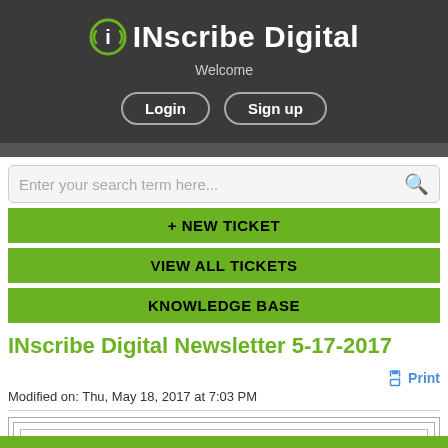(i) INscribe Digital
Welcome
Login  Sign up
Enter your search term here...
+ NEW TICKET
VIEW ALL TICKETS
KNOWLEDGE BASE
INscribe Digital Newsletter 5-17-2017
Modified on: Thu, May 18, 2017 at 7:03 PM
In this issue: New Retailers / Book Expo / OVD Promo / Kobo Promos / GOO Promos